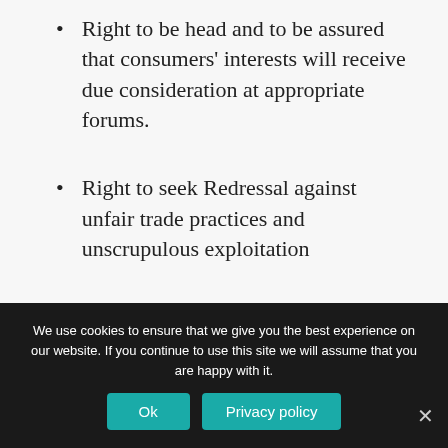Right to be head and to be assured that consumers' interests will receive due consideration at appropriate forums.
Right to seek Redressal against unfair trade practices and unscrupulous exploitation
Right to consumer education
We use cookies to ensure that we give you the best experience on our website. If you continue to use this site we will assume that you are happy with it.